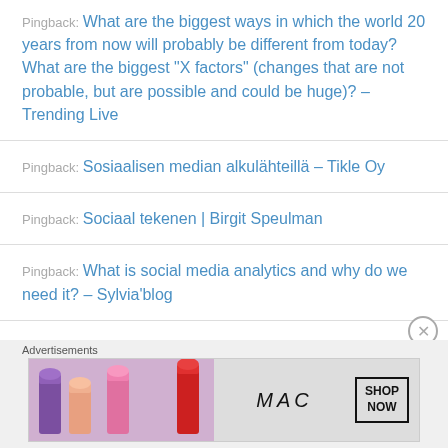Pingback: What are the biggest ways in which the world 20 years from now will probably be different from today? What are the biggest “X factors” (changes that are not probable, but are possible and could be huge)? – Trending Live
Pingback: Sosiaalisen median alkulähteillä – Tikle Oy
Pingback: Sociaal tekenen | Birgit Speulman
Pingback: What is social media analytics and why do we need it? – Sylvia’blog
Advertisements
[Figure (other): MAC Cosmetics advertisement banner with lipsticks and SHOP NOW call to action]